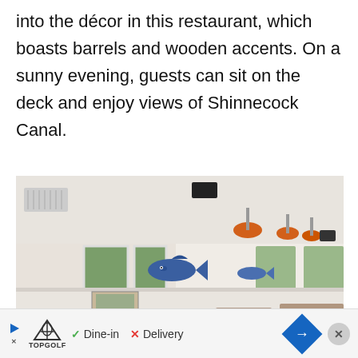into the décor in this restaurant, which boasts barrels and wooden accents. On a sunny evening, guests can sit on the deck and enjoy views of Shinnecock Canal.
[Figure (photo): Interior of a restaurant with brown leather booth seating, tables set with glassware and dishes, white walls with decorative blue fish, orange pendant lights on the ceiling, and large windows in the background.]
Dine-in  Delivery  [ad bar with TopGolf logo, close button]